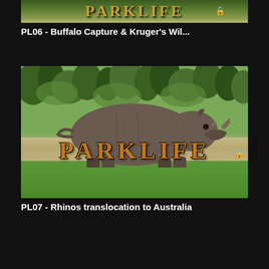[Figure (photo): Partial top of PARKLIFE show thumbnail for PL06 - Buffalo Capture & Kruger's Wildlife, showing PARKLIFE logo text at top]
PL06 - Buffalo Capture & Kruger's Wil...
[Figure (photo): Thumbnail image for PARKLIFE episode PL07 showing a rhinoceros walking across a dirt path in a green field, with PARKLIFE logo text overlay at bottom, and a padlock icon indicating locked/premium content]
PL07 - Rhinos translocation to Australia